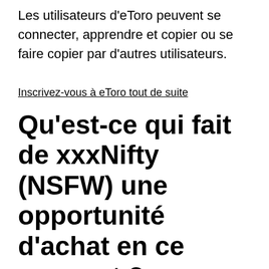Les utilisateurs d'eToro peuvent se connecter, apprendre et copier ou se faire copier par d'autres utilisateurs.
Inscrivez-vous à eToro tout de suite
Qu'est-ce qui fait de xxxNifty (NSFW) une opportunité d'achat en ce moment ?
Pour ceux qui ne le savent pas, NFSW signifie « not safe for work » (pas sûr pour le travail). Il